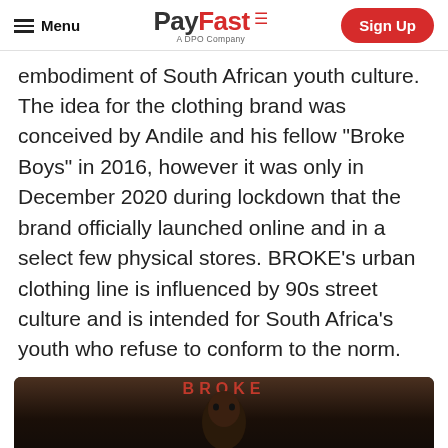Menu | PayFast A DPO Company | Sign Up
embodiment of South African youth culture. The idea for the clothing brand was conceived by Andile and his fellow “Broke Boys” in 2016, however it was only in December 2020 during lockdown that the brand officially launched online and in a select few physical stores. BROKE’s urban clothing line is influenced by 90s street culture and is intended for South Africa’s youth who refuse to conform to the norm.
[Figure (screenshot): Video thumbnail for 'Do What You Love - Broke' on PayFast, showing a dark-skinned young man against a store backdrop with 'BROKE' text banner at top, and a video player bar at the bottom with PayFast logo icon and video title.]